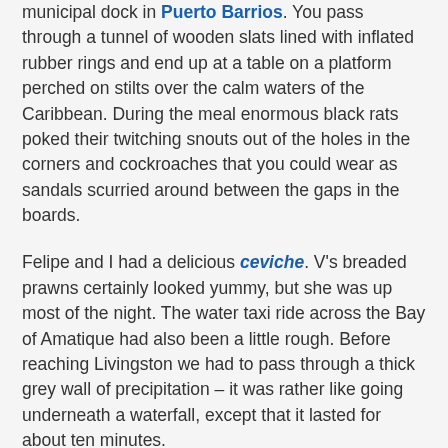municipal dock in Puerto Barrios. You pass through a tunnel of wooden slats lined with inflated rubber rings and end up at a table on a platform perched on stilts over the calm waters of the Caribbean. During the meal enormous black rats poked their twitching snouts out of the holes in the corners and cockroaches that you could wear as sandals scurried around between the gaps in the boards.
Felipe and I had a delicious ceviche. V's breaded prawns certainly looked yummy, but she was up most of the night. The water taxi ride across the Bay of Amatique had also been a little rough. Before reaching Livingston we had to pass through a thick grey wall of precipitation – it was rather like going underneath a waterfall, except that it lasted for about ten minutes.
I find that the locals up here have the kind of intellectual curiosity more typical of Belizeans than Guatemalans. Unlike Belize though, Livingston hasn't really kicked on since the eighties. Perhaps it's because it remains quite hard to access overland, and maybe too because many of the tourists visiting Izabal from highland Guatemala can now